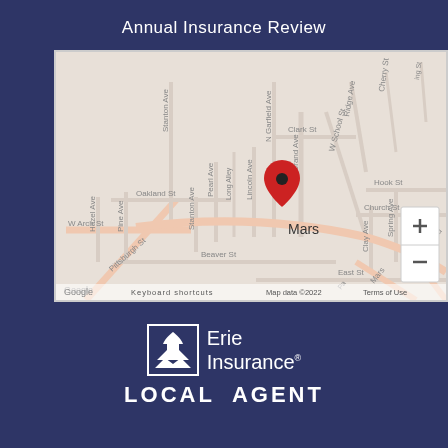Annual Insurance Review
[Figure (map): Google Map showing Mars, PA area with street labels including Stanton Ave, Pearl Ave, Long Alley, Lincoln Ave, N Garfield Ave, Clark St, Grand Ave, W School St, Ridge Ave, Hook St, Church St, Spring Ave, Clay Ave, Brickyard Rd, Beaver St, East St, Hazel Ave, Pine Ave, Oakland St, W Arch St, and Pittsburgh St. A red location pin marks the center labeled 'Mars'. Zoom controls (+/-) visible in bottom right. Footer shows 'Google', 'Keyboard shortcuts', 'Map data ©2022', 'Terms of Use'.]
[Figure (logo): Erie Insurance Local Agent logo: white icon of a building/dome with mountain shapes, text 'Erie Insurance' in white, and 'LOCAL AGENT' in bold white capital letters below.]